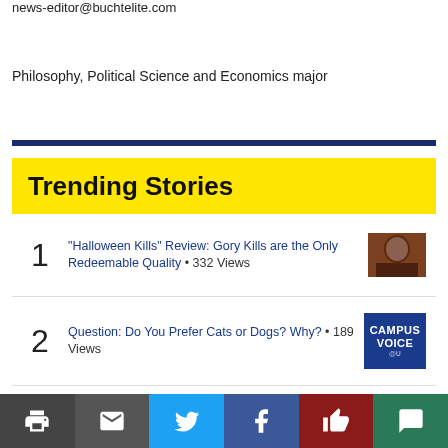news-editor@buchtelite.com
Philosophy, Political Science and Economics major
Trending Stories
"Halloween Kills" Review: Gory Kills are the Only Redeemable Quality • 332 Views
Question: Do You Prefer Cats or Dogs? Why? • 189 Views
Akron Army ROTC Celebrates 101st Year with New
print | email | twitter | facebook | like | comment